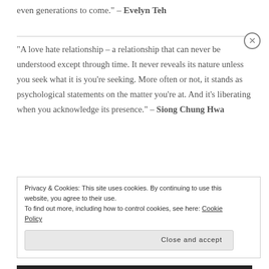even generations to come.” – Evelyn Teh
“A love hate relationship – a relationship that can never be understood except through time. It never reveals its nature unless you seek what it is you’re seeking. More often or not, it stands as psychological statements on the matter you’re at. And it’s liberating when you acknowledge its presence.” – Siong Chung Hwa
Privacy & Cookies: This site uses cookies. By continuing to use this website, you agree to their use.
To find out more, including how to control cookies, see here: Cookie Policy
Close and accept